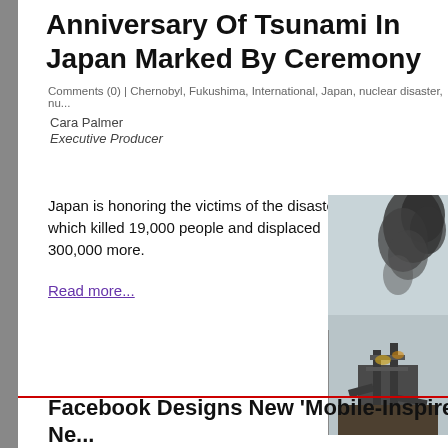Anniversary Of Tsunami In Japan Marked By Ceremony
Comments (0) | Chernobyl, Fukushima, International, Japan, nuclear disaster, nu...
Cara Palmer
Executive Producer
Japan is honoring the victims of the disaster, which killed 19,000 people and displaced 300,000 more.
Read more...
[Figure (photo): Photo showing smoke and destruction, likely from the Fukushima/tsunami disaster site with structural ruins and dark smoke against a grey sky.]
Facebook Designs New 'Mobile-Inspired' Ne...